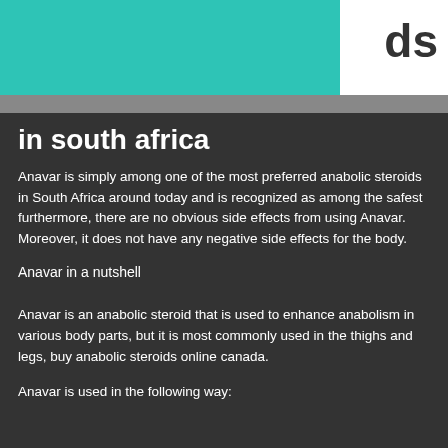ds
in south africa
Anavar is simply among one of the most preferred anabolic steroids in South Africa around today and is recognized as among the safest furthermore, there are no obvious side effects from using Anavar. Moreover, it does not have any negative side effects for the body.
Anavar in a nutshell
Anavar is an anabolic steroid that is used to enhance anabolism in various body parts, but it is most commonly used in the thighs and legs, buy anabolic steroids online canada.
Anavar is used in the following way: